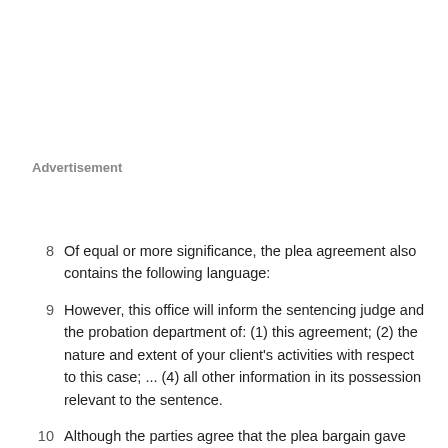Advertisement
Of equal or more significance, the plea agreement also contains the following language:
However, this office will inform the sentencing judge and the probation department of: (1) this agreement; (2) the nature and extent of your client's activities with respect to this case; ... (4) all other information in its possession relevant to the sentence.
Although the parties agree that the plea bargain gave Crisp the equivalent of use immunity under 18 U.S.C. Sec. 6002, this case involves interpretation of the plea agreement, not merely the